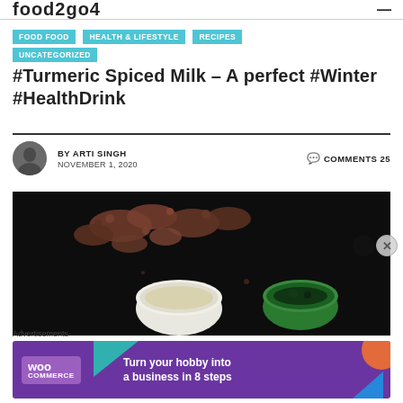food2go4
FOOD FOOD
HEALTH & LIFESTYLE
RECIPES
UNCATEGORIZED
#Turmeric Spiced Milk – A perfect #Winter #HealthDrink
BY ARTI SINGH   COMMENTS 25
NOVEMBER 1, 2020
[Figure (photo): Dark background food photo showing turmeric/ginger roots and two cups/bowls with liquid]
Advertisements
[Figure (other): WooCommerce advertisement banner: 'Turn your hobby into a business in 8 steps']